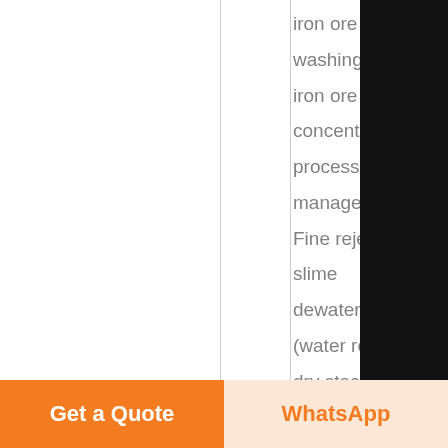iron ore washing plant in iron ore concentrate process Tailings management Fine rejects / slime dewatering (water recovery, dry stacking) Tailings dewatering (water recovery, chemical recovery, dry
Get a Quote
WhatsApp